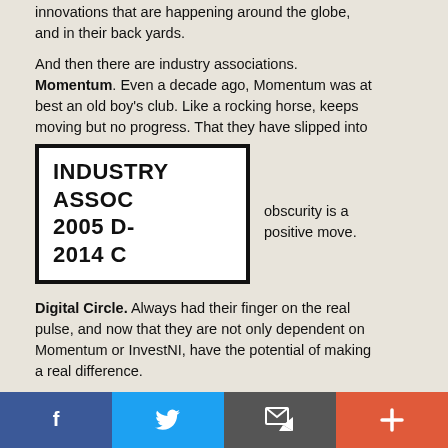innovations that are happening around the globe, and in their back yards.
And then there are industry associations. Momentum. Even a decade ago, Momentum was at best an old boy's club. Like a rocking horse, keeps moving but no progress. That they have slipped into obscurity is a positive move.
[Figure (other): Stamp-style box with text: INDUSTRY ASSOC 2005 D- 2014 C]
Digital Circle. Always had their finger on the real pulse, and now that they are not only dependent on Momentum or InvestNI, have the potential of making a real difference.
Today I'm hearing the invincible under thirties rejecting the shackles that comes with those thirty pieces of silver, and even some of the forties taking risks that they would never have
[Figure (other): Social media sharing bar with Facebook, Twitter, Email/envelope, and Plus buttons]